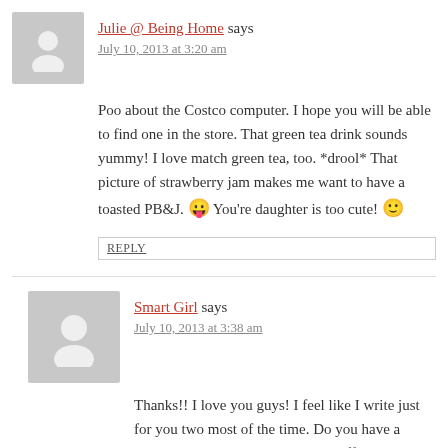Julie @ Being Home says
July 10, 2013 at 3:20 am
Poo about the Costco computer. I hope you will be able to find one in the store. That green tea drink sounds yummy! I love match green tea, too. *drool* That picture of strawberry jam makes me want to have a toasted PB&J. 😛 You're daughter is too cute! 🙂
REPLY
Smart Girl says
July 10, 2013 at 3:38 am
Thanks!! I love you guys! I feel like I write just for you two most of the time. Do you have a Smoothie King near you? Good stuff...